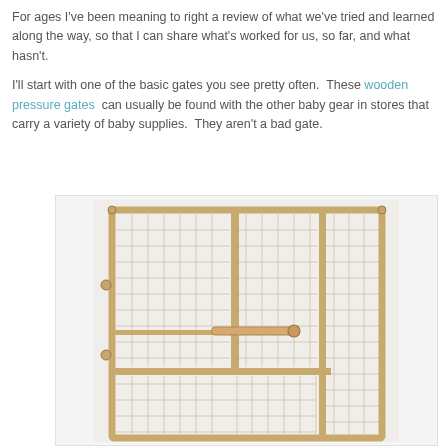For ages I've been meaning to right a review of what we've tried and learned along the way, so that I can share what's worked for us, so far, and what hasn't.
I'll start with one of the basic gates you see pretty often.  These wooden pressure gates  can usually be found with the other baby gear in stores that carry a variety of baby supplies.  They aren't a bad gate.
[Figure (photo): A wooden pressure gate with wire mesh panels, showing a wooden frame with multiple sections of square wire mesh, horizontal bars, and adjustable pressure knobs on the sides.]